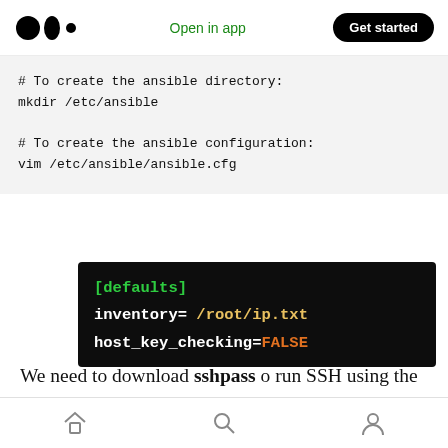Medium logo | Open in app | Get started
# To create the ansible directory:
mkdir /etc/ansible

# To create the ansible configuration:
vim /etc/ansible/ansible.cfg
[Figure (screenshot): Terminal screenshot showing ansible.cfg contents: [defaults] in green, inventory= /root/ip.txt in white/yellow, host_key_checking=FALSE in white/orange]
We need to download sshpass o run SSH using the keyboard-interactive password authentication mode, but in a non-interactive